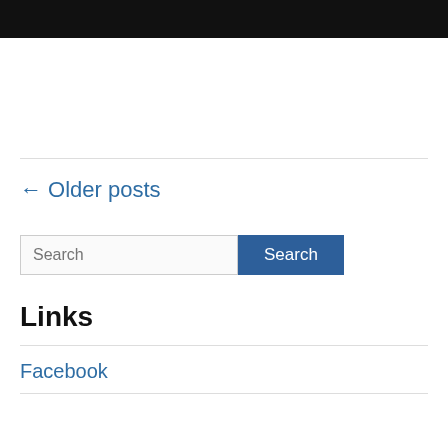[Figure (photo): Black bar at top of page]
← Older posts
Search
Links
Facebook